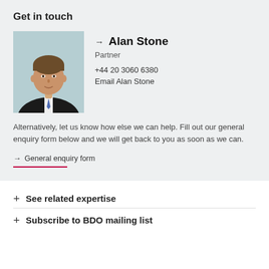Get in touch
[Figure (photo): Professional headshot of Alan Stone, a man in a dark suit and tie, against a light blue/teal background]
→ Alan Stone
Partner
+44 20 3060 6380
Email Alan Stone
Alternatively, let us know how else we can help. Fill out our general enquiry form below and we will get back to you as soon as we can.
→ General enquiry form
+ See related expertise
+ Subscribe to BDO mailing list